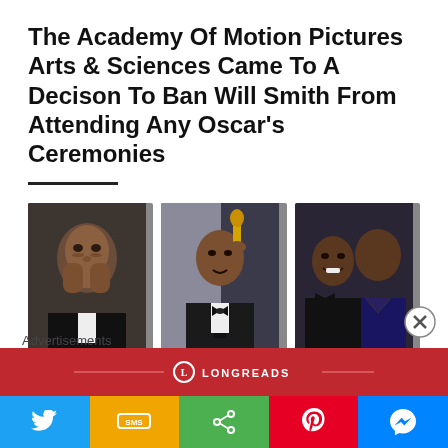The Academy Of Motion Pictures Arts & Sciences Came To A Decison To Ban Will Smith From Attending Any Oscar’s Ceremonies
[Figure (photo): Three photos: 1) Will Smith crying/covering his mouth with hands at the Oscars, 2) Will Smith holding up Oscar statuette at podium in black tuxedo, 3) Will Smith approaching Chris Rock from behind on stage]
Advertisements
[Figure (logo): Longreads banner advertisement in red with circular logo and LONGREADS text]
[Figure (infographic): Social share bar with Twitter (blue), SMS (yellow/orange), Share (green), Pinterest (red), Messenger (blue) buttons]